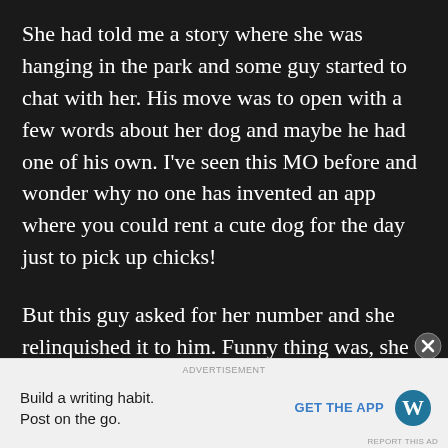She had told me a story where she was hanging in the park and some guy started to chat with her. His move was to open with a few words about her dog and maybe he had one of his own. I've seen this MO before and wonder why no one has invented an app where you could rent a cute dog for the day just to pick up chicks!
But this guy asked for her number and she relinquished it to him. Funny thing was, she later saw him at Vetri Pizza and he was working there. He also was wearing a wedding ring. So
[Figure (other): Advertisement banner: WordPress app promotion. Left side shows text 'Build a writing habit. Post on the go.' Right side shows 'GET THE APP' button and WordPress logo.]